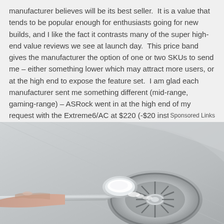manufacturer believes will be its best seller.  It is a value that tends to be popular enough for enthusiasts going for new builds, and I like the fact it contrasts many of the super high-end value reviews we see at launch day.  This price band gives the manufacturer the option of one or two SKUs to send me – either something lower which may attract more users, or at the high end to expose the feature set.  I am glad each manufacturer sent me something different (mid-range, gaming-range) – ASRock went in at the high end of my request with the Extreme6/AC at $220 (-$20 instant rebate in June for NA), but I am glad they did.
Sponsored Links
[Figure (photo): A hand holding a spoon with white powder (baking soda) being poured into a stainless steel sink drain strainer.]